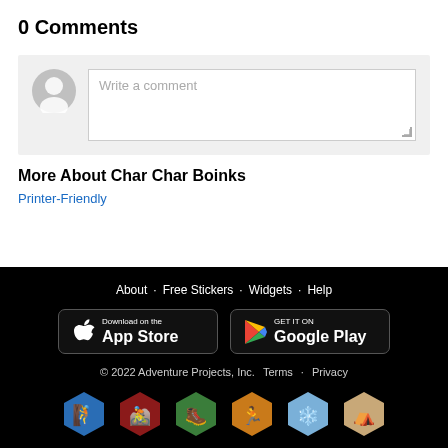0 Comments
Write a comment
More About Char Char Boinks
Printer-Friendly
About · Free Stickers · Widgets · Help
[Figure (logo): Download on the App Store button]
[Figure (logo): GET IT ON Google Play button]
© 2022 Adventure Projects, Inc.   Terms · Privacy
[Figure (illustration): Six hexagonal app icons for adventure/outdoor apps: climbing (blue), mountain biking (dark red), hiking (green), trail running (orange), snow/winter (light blue), camping (tan/gold)]